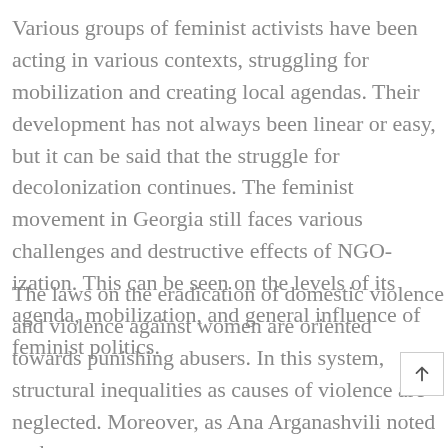Various groups of feminist activists have been acting in various contexts, struggling for mobilization and creating local agendas. Their development has not always been linear or easy, but it can be said that the struggle for decolonization continues. The feminist movement in Georgia still faces various challenges and destructive effects of NGO-ization. This can be seen on the levels of its agenda, mobilization, and general influence of feminist politics.
The laws on the eradication of domestic violence and violence against women are oriented towards punishing abusers. In this system, structural inequalities as causes of violence are neglected. Moreover, as Ana Arganashvili noted at the